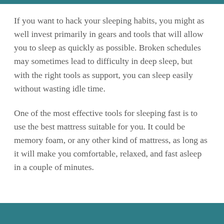If you want to hack your sleeping habits, you might as well invest primarily in gears and tools that will allow you to sleep as quickly as possible. Broken schedules may sometimes lead to difficulty in deep sleep, but with the right tools as support, you can sleep easily without wasting idle time.
One of the most effective tools for sleeping fast is to use the best mattress suitable for you. It could be memory foam, or any other kind of mattress, as long as it will make you comfortable, relaxed, and fast asleep in a couple of minutes.